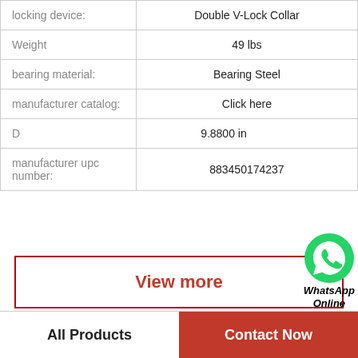| Property | Value |
| --- | --- |
| locking device: | Double V-Lock Collar |
| Weight | 49 lbs |
| bearing material: | Bearing Steel |
| manufacturer catalog: | Click here |
| D | 9.8800 in |
| manufacturer upc number: | 883450174237 |
[Figure (logo): WhatsApp green phone icon with text 'WhatsApp Online']
View more
All Products   Contact Now